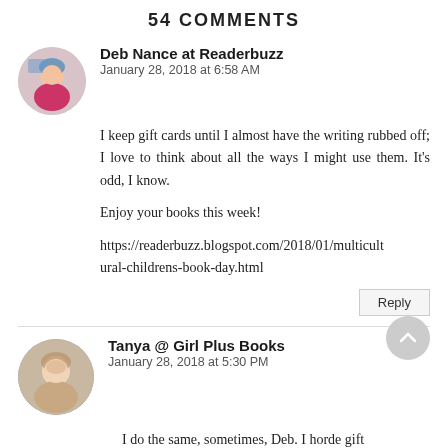54 COMMENTS
Deb Nance at Readerbuzz
January 28, 2018 at 6:58 AM
I keep gift cards until I almost have the writing rubbed off; I love to think about all the ways I might use them. It’s odd, I know.

Enjoy your books this week!

https://readerbuzz.blogspot.com/2018/01/multicultural-childrens-book-day.html
Reply
Tanya @ Girl Plus Books
January 28, 2018 at 5:30 PM
I do the same, sometimes, Deb. I horde gift